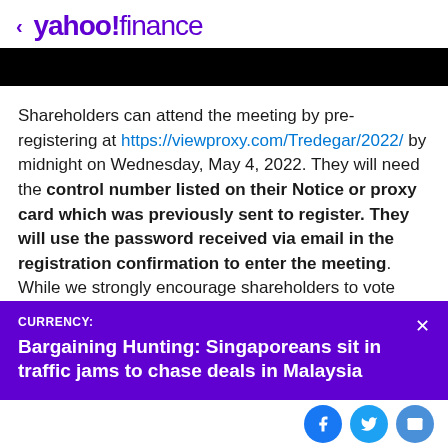< yahoo!finance
Shareholders can attend the meeting by pre-registering at https://viewproxy.com/Tredegar/2022/ by midnight on Wednesday, May 4, 2022. They will need the control number listed on their Notice or proxy card which was previously sent to register. They will use the password received via email in the registration confirmation to enter the meeting. While we strongly encourage shareholders to vote their shares prior to the annual
CURRENCY:
Bargaining Hunting: Singaporeans sit in traffic jams to chase deals in Malaysia